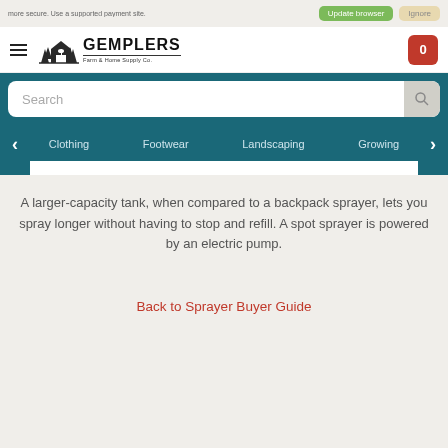more secure. Use a supported payment site. Update browser | Ignore
[Figure (logo): Gemplers Farm & Home Supply Co. logo with barn and trees illustration]
Search
Clothing  Footwear  Landscaping  Growing
A larger-capacity tank, when compared to a backpack sprayer, lets you spray longer without having to stop and refill. A spot sprayer is powered by an electric pump.
Back to Sprayer Buyer Guide